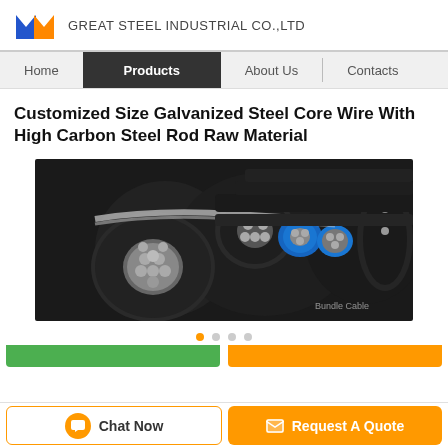GREAT STEEL INDUSTRIAL CO.,LTD
Home | Products | About Us | Contacts
Customized Size Galvanized Steel Core Wire With High Carbon Steel Rod Raw Material
[Figure (photo): Close-up photo of galvanized steel core wire cables bundled together, showing cross-sections with silver wire cores, black insulation, and one blue insulated cable. Watermark reads 'Bundle Cable'.]
Chat Now | Request A Quote